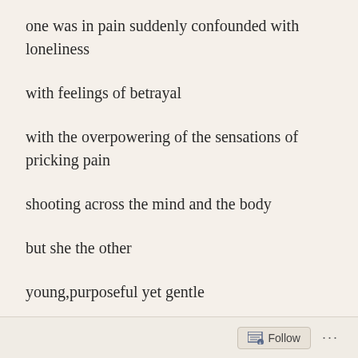one was in pain suddenly confounded with loneliness
with feelings of betrayal
with the overpowering of the sensations of pricking pain
shooting across the mind and the body
but she the other
young,purposeful yet gentle
Follow ...